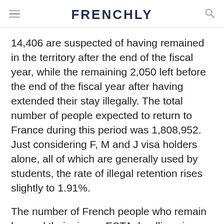FRENCHLY
14,406 are suspected of having remained in the territory after the end of the fiscal year, while the remaining 2,050 left before the end of the fiscal year after having extended their stay illegally. The total number of people expected to return to France during this period was 1,808,952. Just considering F, M and J visa holders alone, all of which are generally used by students, the rate of illegal retention rises slightly to 1.91%.
The number of French people who remain beyond their visa or ESTA deadlines is un